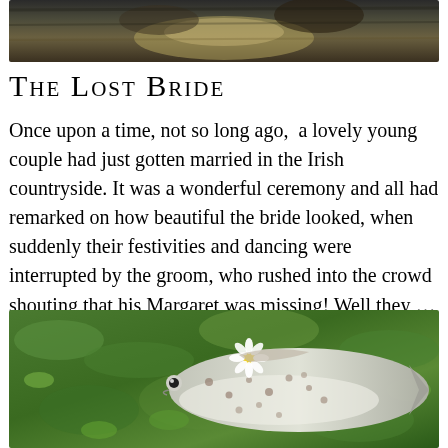[Figure (photo): Dark photograph showing textured animal fur or foliage, brownish-gray tones at the top of the page]
The Lost Bride
Once upon a time, not so long ago,  a lovely young couple had just gotten married in the Irish countryside. It was a wonderful ceremony and all had remarked on how beautiful the bride looked, when suddenly their festivities and dancing were interrupted by the groom, who rushed into the crowd shouting that his Margaret was missing! Well they ... [more]
[Figure (photo): Photograph of a spotted fish (trout) lying on green vegetation/grass with a small white daisy flower nearby]